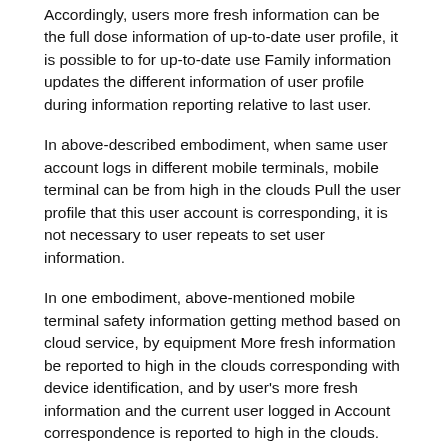Accordingly, users more fresh information can be the full dose information of up-to-date user profile, it is possible to for up-to-date use Family information updates the different information of user profile during information reporting relative to last user.
In above-described embodiment, when same user account logs in different mobile terminals, mobile terminal can be from high in the clouds Pull the user profile that this user account is corresponding, it is not necessary to user repeats to set user information.
In one embodiment, above-mentioned mobile terminal safety information getting method based on cloud service, by equipment More fresh information be reported to high in the clouds corresponding with device identification, and by user's more fresh information and the current user logged in Account correspondence is reported to high in the clouds.
In one embodiment, above-mentioned mobile terminal safety information getting method based on cloud service also includes raw The step of forming apparatus mark.
Mobile terminal safety information getting method based